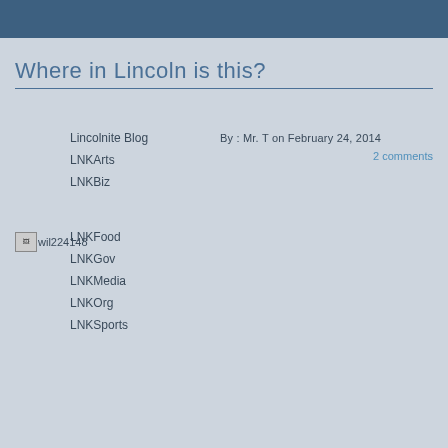Where in Lincoln is this?
By: Mr. T on February 24, 2014
2 comments
Lincolnite Blog
LNKArts
LNKBiz
LNKFood
LNKGov
LNKMedia
LNKOrg
LNKSports
[Figure (photo): Broken image placeholder labeled wil224148]